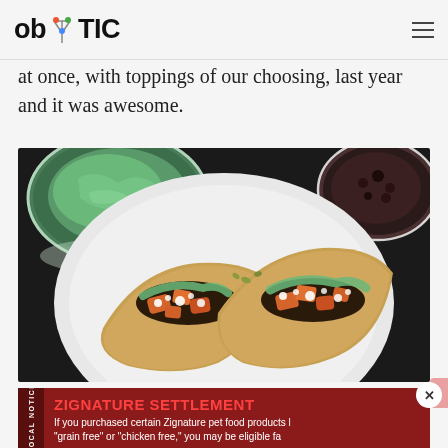ob TIC
at once, with toppings of our choosing, last year and it was awesome.
[Figure (photo): Overhead photo of tacos on a white plate with roasted sweet potato, black beans, guacamole/avocado sauce, crumbled white cheese, and pepitas. Two bowls in background — one with guacamole, one with black beans. Dark background surface.]
[Figure (photo): Advertisement banner: Zignature Settlement legal notice ad. Red/maroon background. Text reads: ZIGNATURE SETTLEMENT — If you purchased certain Zignature pet food products labeled 'grain free' or 'chicken free,' you may be eligible fa...]
ZIGNATURE SETTLEMENT — If you purchased certain Zignature pet food products labeled "grain free" or "chicken free," you may be eligible fa...